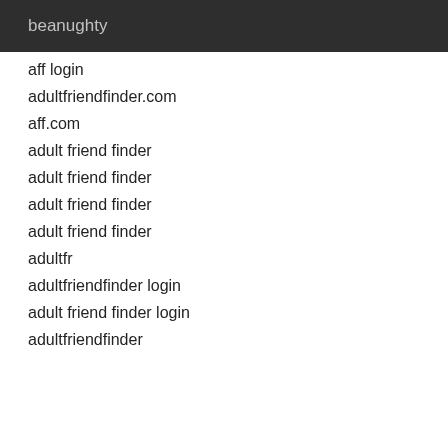beanughty
aff login
adultfriendfinder.com
aff.com
adult friend finder
adult friend finder
adult friend finder
adult friend finder
adultfr
adultfriendfinder login
adult friend finder login
adultfriendfinder